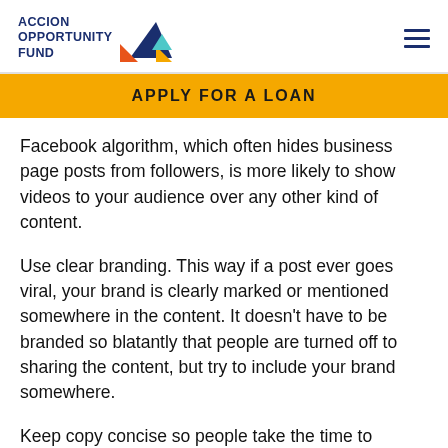ACCION OPPORTUNITY FUND
APPLY FOR A LOAN
Facebook algorithm, which often hides business page posts from followers, is more likely to show videos to your audience over any other kind of content.
Use clear branding. This way if a post ever goes viral, your brand is clearly marked or mentioned somewhere in the content. It doesn’t have to be branded so blatantly that people are turned off to sharing the content, but try to include your brand somewhere.
Keep copy concise so people take the time to